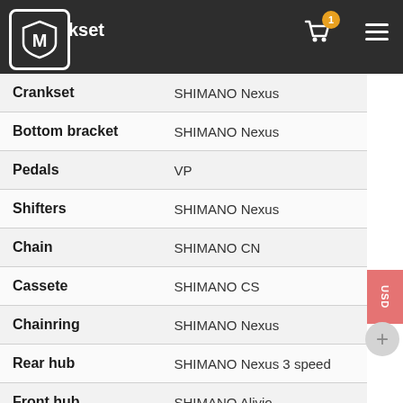Crankset / Bottom bracket - navigation bar with logo, cart, and menu
| Component | Brand |
| --- | --- |
| Crankset | SHIMANO Nexus |
| Bottom bracket | SHIMANO Nexus |
| Pedals | VP |
| Shifters | SHIMANO Nexus |
| Chain | SHIMANO CN |
| Cassete | SHIMANO CS |
| Chainring | SHIMANO Nexus |
| Rear hub | SHIMANO Nexus 3 speed |
| Front hub | SHIMANO Alivio |
| Brake set | SHIMANO |